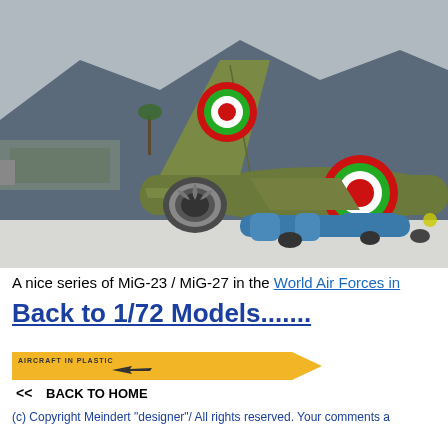[Figure (photo): Close-up photograph of a MiG-23 or MiG-27 scale model aircraft in olive drab green livery with Bulgarian Air Force roundels (red, white, and green concentric circles) on the tail fin and fuselage. The model is displayed on a white surface with mountains and vehicles visible in the background.]
A nice series of MiG-23 / MiG-27 in the World Air Forces in
Back to 1/72 Models.......
[Figure (logo): Aircraft in Plastic website logo with a small aircraft silhouette and text AIRCRAFT IN PLASTIC. Below is a navigation element with << BACK TO HOME text and an orange/yellow arrow shape.]
(c) Copyright Meindert "designer"/ All rights reserved. Your comments a